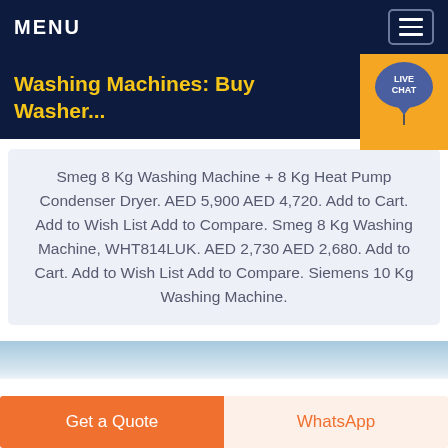MENU
Washing Machines: Buy Washer...
Smeg 8 Kg Washing Machine + 8 Kg Heat Pump Condenser Dryer. AED 5,900 AED 4,720. Add to Cart. Add to Wish List Add to Compare. Smeg 8 Kg Washing Machine, WHT814LUK. AED 2,730 AED 2,680. Add to Cart. Add to Wish List Add to Compare. Siemens 10 Kg Washing Machine.
[Figure (photo): Sky background image strip]
Get a Quote
WhatsApp